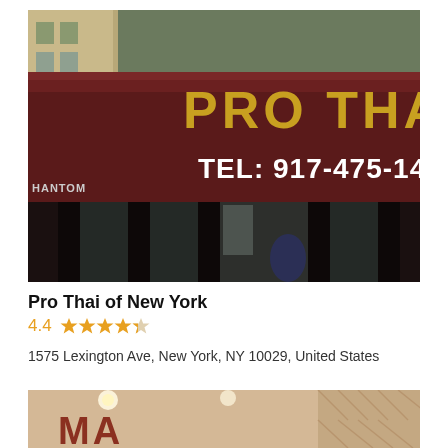[Figure (photo): Exterior photo of Pro Thai restaurant storefront with dark maroon awning showing 'PRO THAI' in gold letters and 'TEL: 917-475-1494' in white text. Dark pillars and glass entrance visible.]
Pro Thai of New York
4.4  (star rating: 4.4 out of 5)
1575 Lexington Ave, New York, NY 10029, United States
[Figure (photo): Partial photo of another restaurant interior, warm lighting, text 'MA' visible at bottom (cut off).]